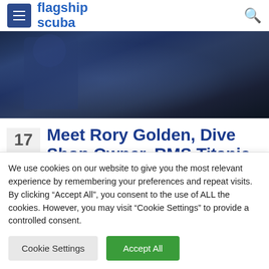flagship scuba
[Figure (photo): Hero image: person in dark blue jacket with equipment, dark background]
Meet Rory Golden, Dive Shop Owner, RMS Titanic Diver and Member of the
We use cookies on our website to give you the most relevant experience by remembering your preferences and repeat visits. By clicking “Accept All”, you consent to the use of ALL the cookies. However, you may visit “Cookie Settings” to provide a controlled consent.